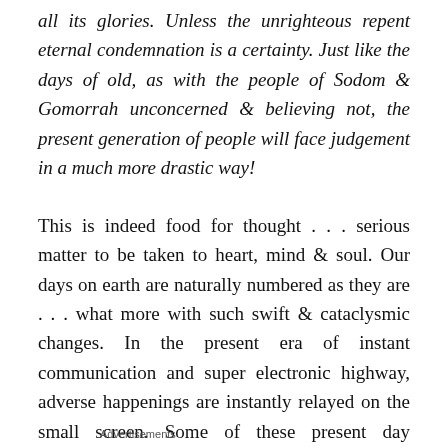all its glories. Unless the unrighteous repent eternal condemnation is a certainty. Just like the days of old, as with the people of Sodom & Gomorrah unconcerned & believing not, the present generation of people will face judgement in a much more drastic way!
This is indeed food for thought . . . serious matter to be taken to heart, mind & soul. Our days on earth are naturally numbered as they are . . . what more with such swift & cataclysmic changes. In the present era of instant communication and super electronic highway, adverse happenings are instantly relayed on the small screen. Some of these present day happenings are really scary.
Advertisements